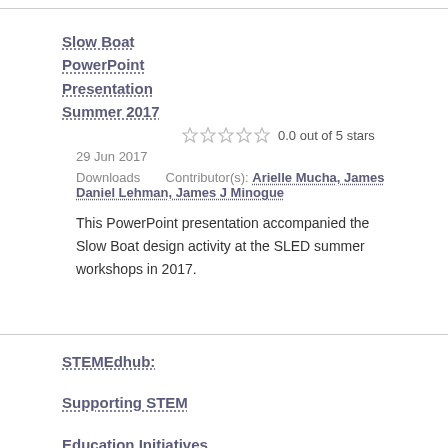Slow Boat PowerPoint Presentation Summer 2017
0.0 out of 5 stars
29 Jun 2017
Downloads   Contributor(s): Arielle Mucha, James Daniel Lehman, James J Minogue
This PowerPoint presentation accompanied the Slow Boat design activity at the SLED summer workshops in 2017.
STEMEdhub: Supporting STEM Education Initiatives via the H U Pzero